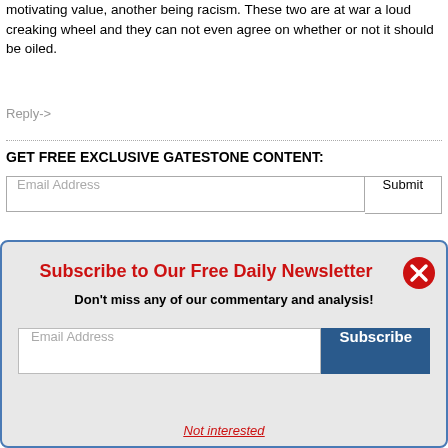motivating value, another being racism. These two are at war a loud creaking wheel and they can not even agree on whether or not it should be oiled.
Reply->
GET FREE EXCLUSIVE GATESTONE CONTENT:
Subscribe to Our Free Daily Newsletter
Don't miss any of our commentary and analysis!
Not interested